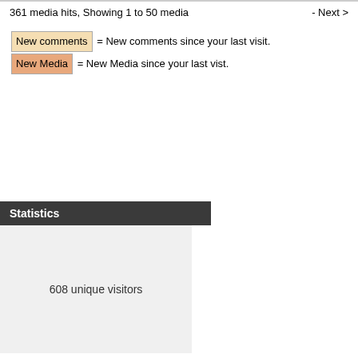361 media hits, Showing 1 to 50 media   - Next >
New comments = New comments since your last visit.
New Media = New Media since your last vist.
Statistics
608 unique visitors